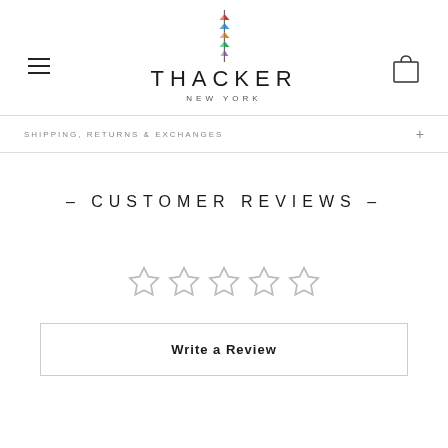THACKER NEW YORK
SHIPPING, RETURNS & EXCHANGES
– CUSTOMER REVIEWS –
[Figure (other): Five empty star rating icons in a row indicating no reviews yet]
Write a Review